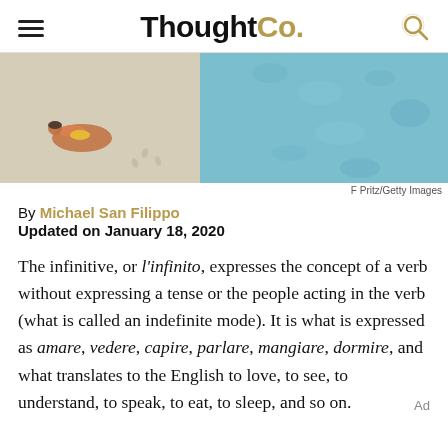ThoughtCo.
[Figure (photo): Aerial view of a beach with a person sunbathing on white sand next to turquoise water]
F Pritz/Getty Images
By Michael San Filippo
Updated on January 18, 2020
The infinitive, or l'infinito, expresses the concept of a verb without expressing a tense or the people acting in the verb (what is called an indefinite mode). It is what is expressed as amare, vedere, capire, parlare, mangiare, dormire, and what translates to the English to love, to see, to understand, to speak, to eat, to sleep, and so on.